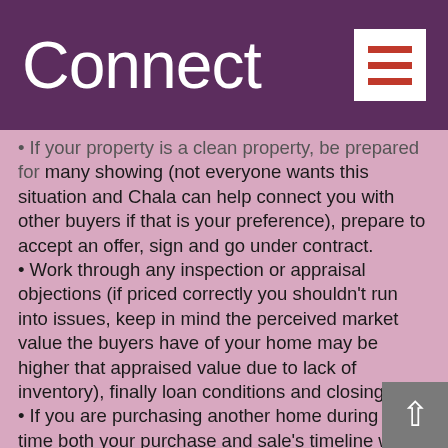Connect
If your property is a clean property, be prepared for many showing (not everyone wants this situation and Chala can help connect you with other buyers if that is your preference), prepare to accept an offer, sign and go under contract.
• Work through any inspection or appraisal objections (if priced correctly you shouldn't run into issues, keep in mind the perceived market value the buyers have of your home may be higher that appraised value due to lack of inventory), finally loan conditions and closing.
• If you are purchasing another home during this time both your purchase and sale's timeline will need to coincide with each other. It is important to have a skilled agent to help you through the process as once you have agreed to sell your home to